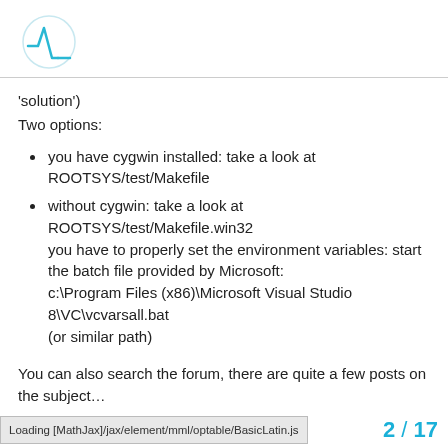[ROOT logo]
'solution')
Two options:
you have cygwin installed: take a look at ROOTSYS/test/Makefile
without cygwin: take a look at ROOTSYS/test/Makefile.win32
you have to properly set the environment variables: start the batch file provided by Microsoft:
c:\Program Files (x86)\Microsoft Visual Studio 8\VC\vcvarsall.bat
(or similar path)
You can also search the forum, there are quite a few posts on the subject…
Cheers,
Bertrand.
Loading [MathJax]/jax/element/mml/optable/BasicLatin.js    2 / 17